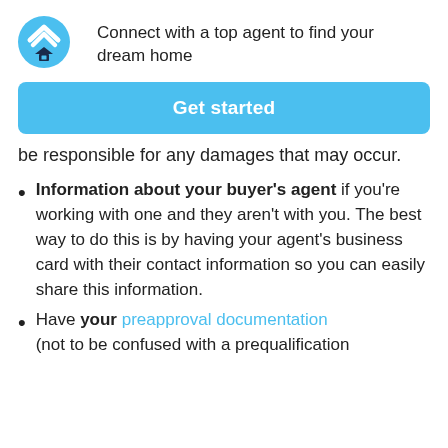[Figure (logo): Real estate app logo — blue circle with white chevron/arrow shapes and a dark house icon below]
Connect with a top agent to find your dream home
Get started
be responsible for any damages that may occur.
Information about your buyer's agent if you're working with one and they aren't with you. The best way to do this is by having your agent's business card with their contact information so you can easily share this information.
Have your preapproval documentation (not to be confused with a prequalification